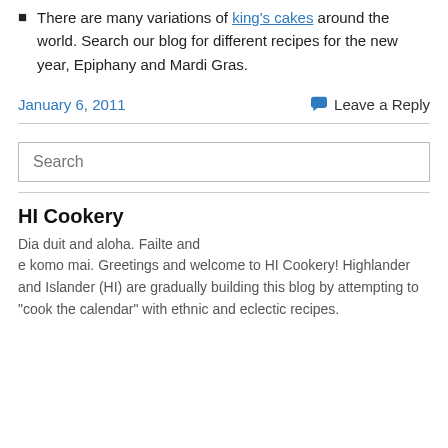There are many variations of king's cakes around the world. Search our blog for different recipes for the new year, Epiphany and Mardi Gras.
January 6, 2011    Leave a Reply
Search
HI Cookery
Dia duit and aloha. Failte and e komo mai. Greetings and welcome to HI Cookery! Highlander and Islander (HI) are gradually building this blog by attempting to "cook the calendar" with ethnic and eclectic recipes.